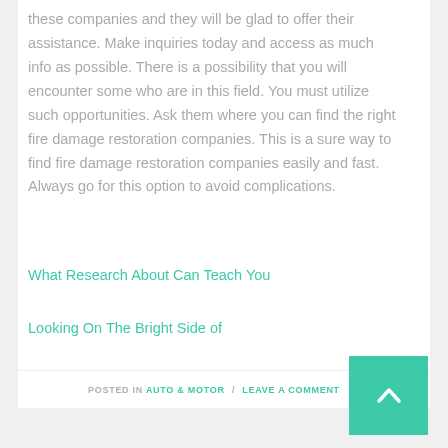these companies and they will be glad to offer their assistance. Make inquiries today and access as much info as possible. There is a possibility that you will encounter some who are in this field. You must utilize such opportunities. Ask them where you can find the right fire damage restoration companies. This is a sure way to find fire damage restoration companies easily and fast. Always go for this option to avoid complications.
What Research About Can Teach You
Looking On The Bright Side of
POSTED IN AUTO & MOTOR / LEAVE A COMMENT